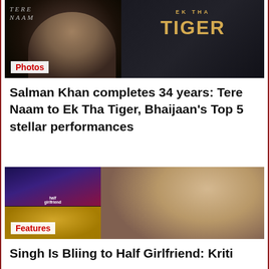[Figure (photo): Movie poster collage showing Tere Naam on the left with a dark face close-up and Ek Tha Tiger on the right with golden text on dark background. Red 'Photos' label overlaid.]
Salman Khan completes 34 years: Tere Naam to Ek Tha Tiger, Bhaijaan’s Top 5 stellar performances
[Figure (photo): Collage of Half Girlfriend and another movie poster on the left, with a woman (Kriti Sanon) posing in a white outfit on the right. Red 'Features' label overlaid.]
Singh Is Bliing to Half Girlfriend: Kriti